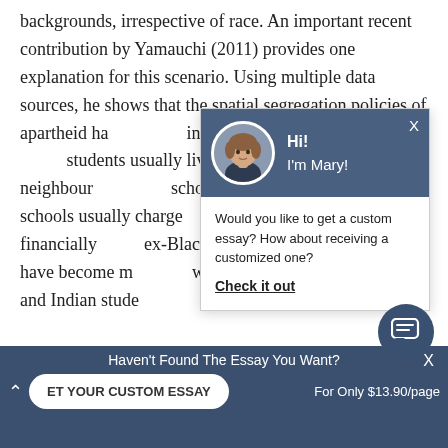backgrounds, irrespective of race. An important recent contribution by Yamauchi (2011) provides one explanation for this scenario. Using multiple data sources, he shows that the spatial segregation policies of apartheid ha... inequality of opportunit... students usually live fa... in expensive neighbour... schools geographically... schools usually charge... makes them financially... ex-Black schools have... schools have become r... with wealthier Black, Coloured and Indian stude...
[Figure (screenshot): Chat widget popup with avatar of a young woman named Mary, greeting 'Hi! I'm Mary!', body text 'Would you like to get a custom essay? How about receiving a customized one?', and a 'Check it out' link.]
Haven't Found The Essay You Want?
GET YOUR CUSTOM ESSAY
For Only $13.90/page